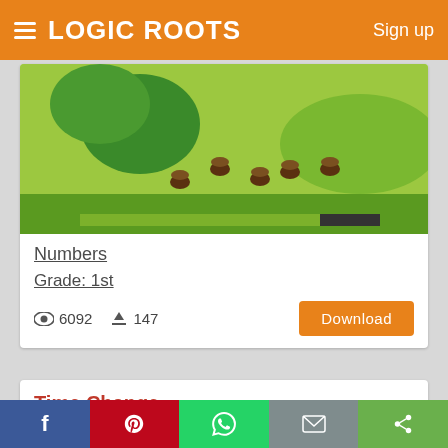LOGIC ROOTS   Sign up
[Figure (screenshot): Numbers worksheet thumbnail showing acorns falling from a tree on green grass background]
Numbers
Grade: 1st
6092  147
Download
Time Change
[Figure (other): 4.5 star rating with heart/favorite icon]
[Figure (screenshot): Time Change worksheet thumbnail showing educational content about time]
Facebook Pinterest WhatsApp Email Share social sharing buttons